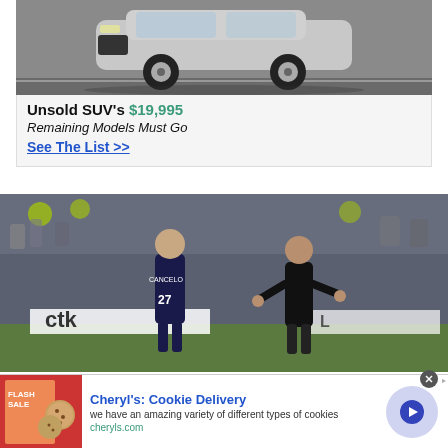[Figure (photo): Silver SUV car photographed from front-left angle on a road]
Unsold SUV's $19,995
Remaining Models Must Go
See The List >>
[Figure (photo): Soccer/football coach instructing player number 27 (Cancelo) on sideline during a match with crowd in background]
[Figure (photo): Cheryl's Cookie Delivery advertisement with cookies image]
Cheryl's: Cookie Delivery
we have an amazing variety of different types of cookies
cheryls.com